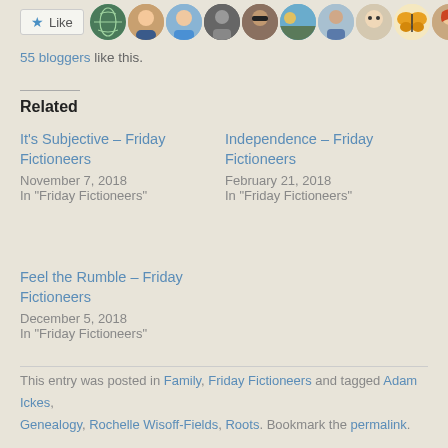[Figure (other): Like button and blogger avatar thumbnails row]
55 bloggers like this.
Related
It's Subjective – Friday Fictioneers
November 7, 2018
In "Friday Fictioneers"
Independence – Friday Fictioneers
February 21, 2018
In "Friday Fictioneers"
Feel the Rumble – Friday Fictioneers
December 5, 2018
In "Friday Fictioneers"
This entry was posted in Family, Friday Fictioneers and tagged Adam Ickes, Genealogy, Rochelle Wisoff-Fields, Roots. Bookmark the permalink.